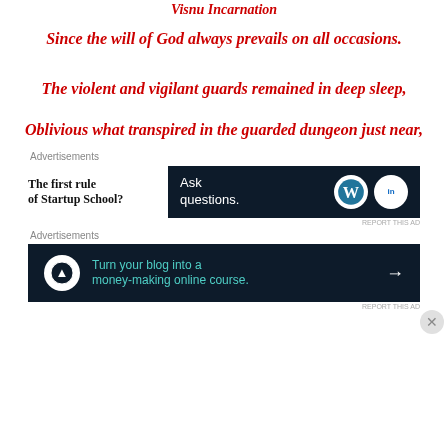Visnu Incarnation
Since the will of God always prevails on all occasions.
The violent and vigilant guards remained in deep sleep,
Oblivious what transpired in the guarded dungeon just near,
[Figure (infographic): Advertisement section with two ad banners: first shows 'The first rule of Startup School?' with WordPress and LinkedIn logos; second shows 'Turn your blog into a money-making online course.' with arrow button.]